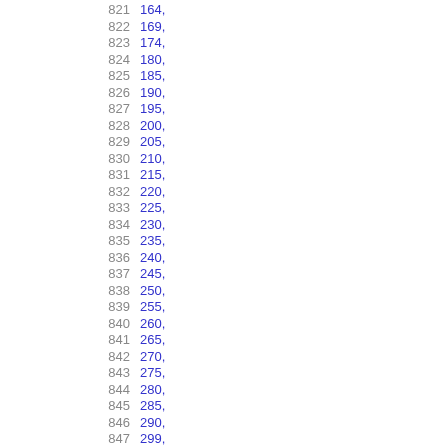| index | value |
| --- | --- |
| 821 | 164, |
| 822 | 169, |
| 823 | 174, |
| 824 | 180, |
| 825 | 185, |
| 826 | 190, |
| 827 | 195, |
| 828 | 200, |
| 829 | 205, |
| 830 | 210, |
| 831 | 215, |
| 832 | 220, |
| 833 | 225, |
| 834 | 230, |
| 835 | 235, |
| 836 | 240, |
| 837 | 245, |
| 838 | 250, |
| 839 | 255, |
| 840 | 260, |
| 841 | 265, |
| 842 | 270, |
| 843 | 275, |
| 844 | 280, |
| 845 | 285, |
| 846 | 290, |
| 847 | 299, |
| 848 | 303, |
| 849 | 328, |
| 850 | 334, |
| 851 | 353, |
| 852 | 364, |
| 853 | 495, |